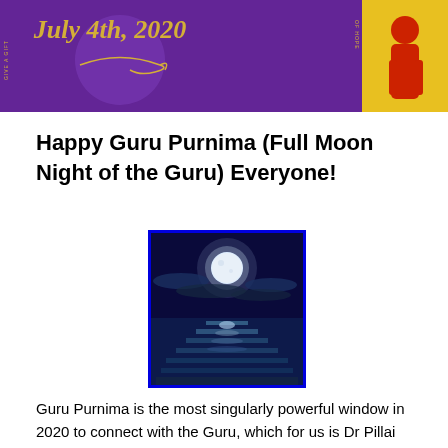[Figure (illustration): Purple banner with gold cursive text reading 'July 4th, 2020', decorative swirl, and a figure in red on the right side against a yellow background]
Happy Guru Purnima (Full Moon Night of the Guru) Everyone!
[Figure (photo): Night scene with a full moon in a dark blue sky reflecting on calm water below, with clouds surrounding the moon]
Guru Purnima is the most singularly powerful window in 2020 to connect with the Guru, which for us is Dr Pillai (Babaji).